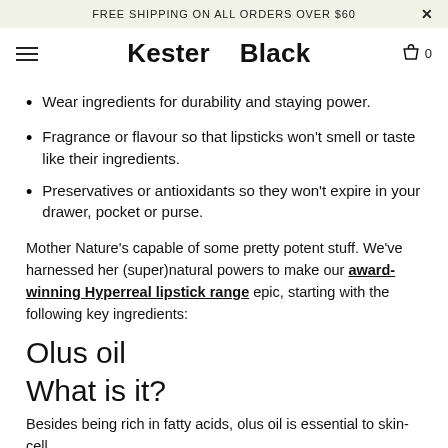FREE SHIPPING ON ALL ORDERS OVER $60
Kester Black
Wear ingredients for durability and staying power.
Fragrance or flavour so that lipsticks won't smell or taste like their ingredients.
Preservatives or antioxidants so they won't expire in your drawer, pocket or purse.
Mother Nature's capable of some pretty potent stuff. We've harnessed her (super)natural powers to make our award-winning Hyperreal lipstick range epic, starting with the following key ingredients:
Olus oil
What is it?
Besides being rich in fatty acids, olus oil is essential to skin-cell